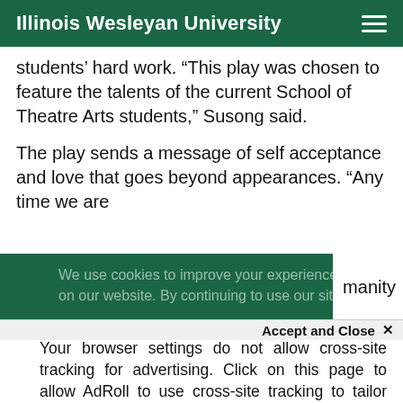Illinois Wesleyan University
students’ hard work. “This play was chosen to feature the talents of the current School of Theatre Arts students,” Susong said.
The play sends a message of self acceptance and love that goes beyond appearances. “Any time we are
manity
We use cookies to improve your experience on our website. By continuing to use our site,
won
Accept and Close ×
Your browser settings do not allow cross-site tracking for advertising. Click on this page to allow AdRoll to use cross-site tracking to tailor ads to you. Learn more or opt out of this AdRoll tracking by clicking here. This message only appears once.
Brian Crawley. The play is inspired by the short stor